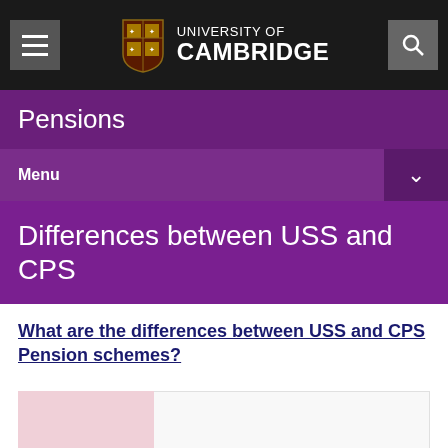University of Cambridge
Pensions
Menu
Differences between USS and CPS
What are the differences between USS and CPS Pension schemes?
[Figure (table-as-image): Partial view of a comparison table with a pink left column and white right column]